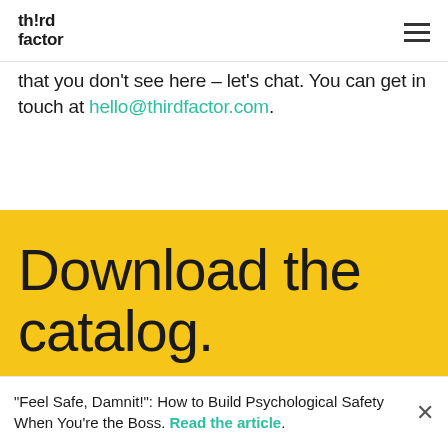third factor
that you don't see here – let's chat. You can get in touch at hello@thirdfactor.com.
Download the catalog.
"Feel Safe, Damnit!": How to Build Psychological Safety When You're the Boss. Read the article.